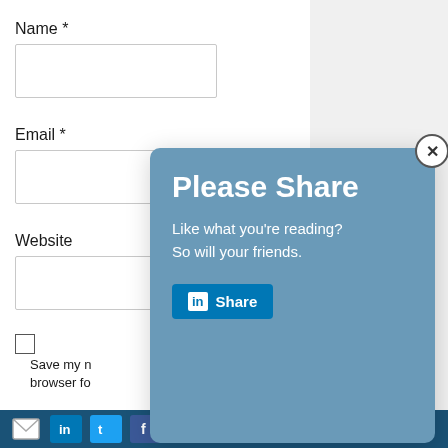Name *
[Figure (screenshot): Empty text input field for Name]
Email *
[Figure (screenshot): Empty text input field for Email]
Website
[Figure (screenshot): Empty text input field for Website]
[Figure (screenshot): Checkbox for saving name and email in browser]
Save my n... browser fo...
[Figure (infographic): Modal popup overlay with heading 'Please Share', text 'Like what you’re reading? So will your friends.', LinkedIn Share button, and a close (X) button in top right corner.]
[Figure (screenshot): Bottom social sharing bar with email, LinkedIn, Twitter, Facebook icons and Share text]